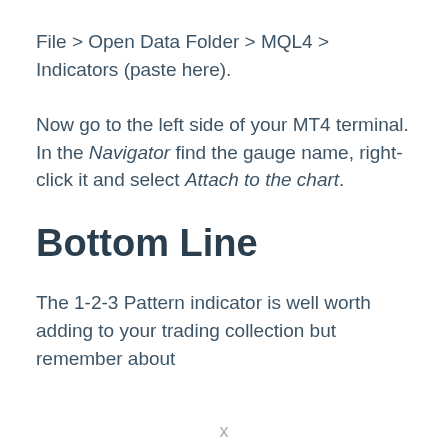File > Open Data Folder > MQL4 > Indicators (paste here).
Now go to the left side of your MT4 terminal. In the Navigator find the gauge name, right-click it and select Attach to the chart.
Bottom Line
The 1-2-3 Pattern indicator is well worth adding to your trading collection but remember about
x